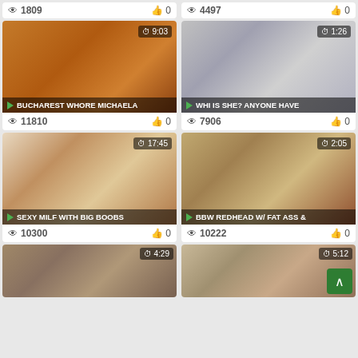1809 views, 0 likes
4497 views, 0 likes
[Figure (screenshot): Video thumbnail - Bucharest Whore Michaela, duration 9:03, 11810 views, 0 likes]
[Figure (screenshot): Video thumbnail - Who Is She? Anyone Have, duration 1:26, 7906 views, 0 likes]
[Figure (screenshot): Video thumbnail - Sexy Milf With Big Boobs, duration 17:45, 10300 views, 0 likes]
[Figure (screenshot): Video thumbnail - BBW Redhead W/ Fat Ass &, duration 2:05, 10222 views, 0 likes]
[Figure (screenshot): Video thumbnail partial - duration 4:29]
[Figure (screenshot): Video thumbnail partial - duration 5:12 (approx)]